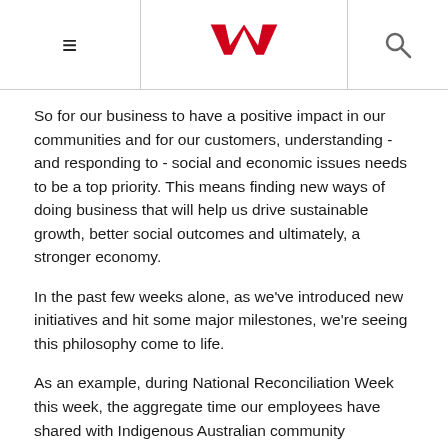Westpac header with hamburger menu, Westpac logo, and search icon
So for our business to have a positive impact in our communities and for our customers, understanding - and responding to - social and economic issues needs to be a top priority. This means finding new ways of doing business that will help us drive sustainable growth, better social outcomes and ultimately, a stronger economy.
In the past few weeks alone, as we've introduced new initiatives and hit some major milestones, we're seeing this philosophy come to life.
As an example, during National Reconciliation Week this week, the aggregate time our employees have shared with Indigenous Australian community organisations through Jawun Indigenous Corporate